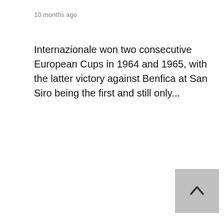10 months ago
Internazionale won two consecutive European Cups in 1964 and 1965, with the latter victory against Benfica at San Siro being the first and still only...